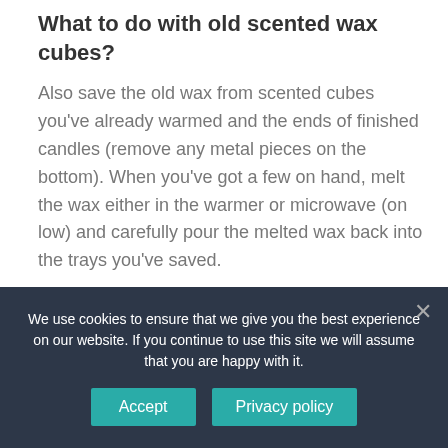What to do with old scented wax cubes?
Also save the old wax from scented cubes you've already warmed and the ends of finished candles (remove any metal pieces on the bottom). When you've got a few on hand, melt the wax either in the warmer or microwave (on low) and carefully pour the melted wax back into the trays you've saved.
How big is a STRN scented wax cube?
We use cookies to ensure that we give you the best experience on our website. If you continue to use this site we will assume that you are happy with it.